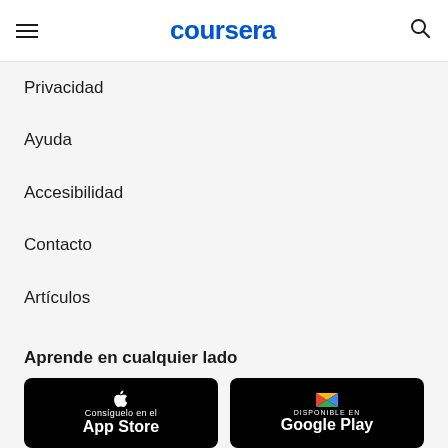coursera
Privacidad
Ayuda
Accesibilidad
Contacto
Artículos
Directorio
Afiliados
Declaración de Esclavitud Moderna
Aprende en cualquier lado
[Figure (screenshot): App Store and Google Play download badges]